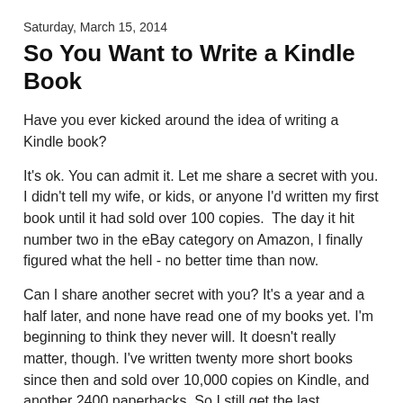Saturday, March 15, 2014
So You Want to Write a Kindle Book
Have you ever kicked around the idea of writing a Kindle book?
It's ok. You can admit it. Let me share a secret with you. I didn't tell my wife, or kids, or anyone I'd written my first book until it had sold over 100 copies.  The day it hit number two in the eBay category on Amazon, I finally figured what the hell - no better time than now.
Can I share another secret with you? It's a year and a half later, and none have read one of my books yet. I'm beginning to think they never will. It doesn't really matter, though. I've written twenty more short books since then and sold over 10,000 copies on Kindle, and another 2400 paperbacks. So I still get the last